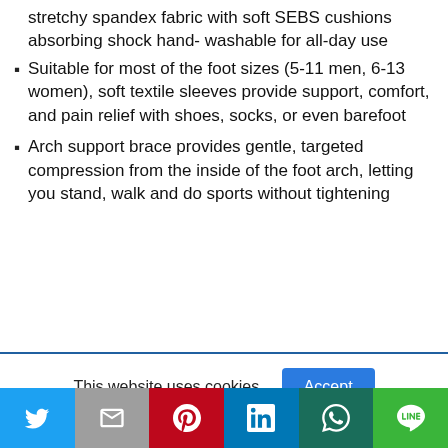stretchy spandex fabric with soft SEBS cushions absorbing shock hand- washable for all-day use
Suitable for most of the foot sizes (5-11 men, 6-13 women), soft textile sleeves provide support, comfort, and pain relief with shoes, socks, or even barefoot
Arch support brace provides gentle, targeted compression from the inside of the foot arch, letting you stand, walk and do sports without tightening
This website uses cookies.
Social share bar: Twitter, Gmail, Pinterest, LinkedIn, WhatsApp, LINE